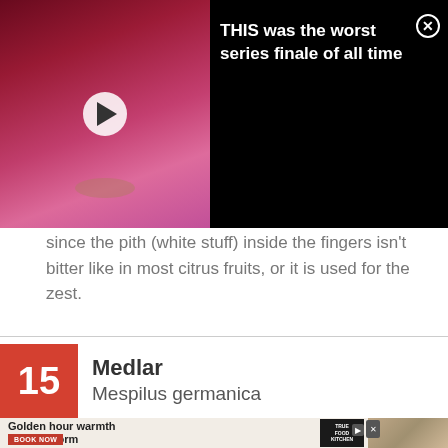[Figure (screenshot): Video thumbnail showing a person's face with pink/magenta background and a white play button overlay, with text 'THIS was the worst series finale of all time' and a close (X) button]
since the pith (white stuff) inside the fingers isn't bitter like in most citrus fruits, or it is used for the zest.
15 Medlar Mespilus germanica
[Figure (photo): Close-up photograph of green plant leaves, likely medlar foliage]
[Figure (photo): Advertisement banner: 'Golden hour warmth in flavor form' with Book Now button, food photo, and True Food Kitchen logo]